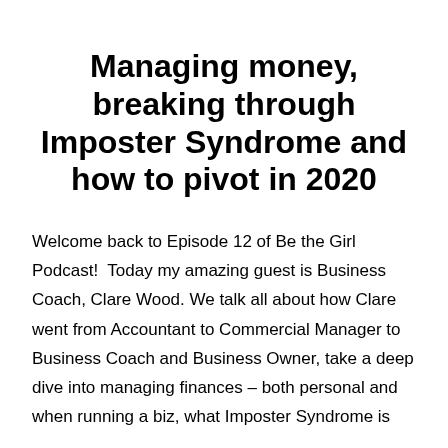Managing money, breaking through Imposter Syndrome and how to pivot in 2020
Welcome back to Episode 12 of Be the Girl Podcast!  Today my amazing guest is Business Coach, Clare Wood. We talk all about how Clare went from Accountant to Commercial Manager to Business Coach and Business Owner, take a deep dive into managing finances – both personal and when running a biz, what Imposter Syndrome is